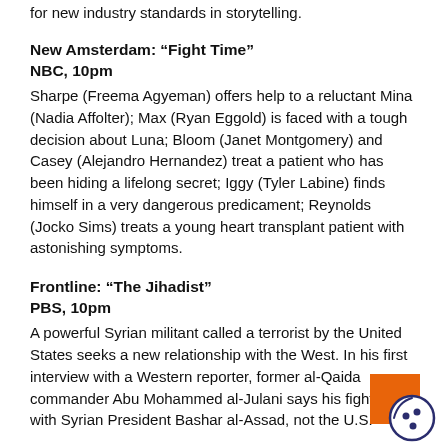for new industry standards in storytelling.
New Amsterdam: “Fight Time”
NBC, 10pm
Sharpe (Freema Agyeman) offers help to a reluctant Mina (Nadia Affolter); Max (Ryan Eggold) is faced with a tough decision about Luna; Bloom (Janet Montgomery) and Casey (Alejandro Hernandez) treat a patient who has been hiding a lifelong secret; Iggy (Tyler Labine) finds himself in a very dangerous predicament; Reynolds (Jocko Sims) treats a young heart transplant patient with astonishing symptoms.
Frontline: “The Jihadist”
PBS, 10pm
A powerful Syrian militant called a terrorist by the United States seeks a new relationship with the West. In his first interview with a Western reporter, former al-Qaida commander Abu Mohammed al-Julani says his fight is with Syrian President Bashar al-Assad, not the U.S.
Doubling Down With the Derricos